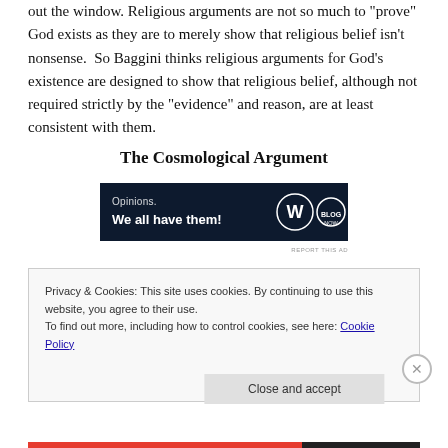out the window. Religious arguments are not so much to “prove” God exists as they are to merely show that religious belief isn’t nonsense. So Baggini thinks religious arguments for God’s existence are designed to show that religious belief, although not required strictly by the “evidence” and reason, are at least consistent with them.
The Cosmological Argument
[Figure (other): Advertisement banner with dark navy background. Text reads 'Opinions. We all have them!' with WordPress (W) logo and another circular logo on the right.]
Privacy & Cookies: This site uses cookies. By continuing to use this website, you agree to their use.
To find out more, including how to control cookies, see here: Cookie Policy
Close and accept